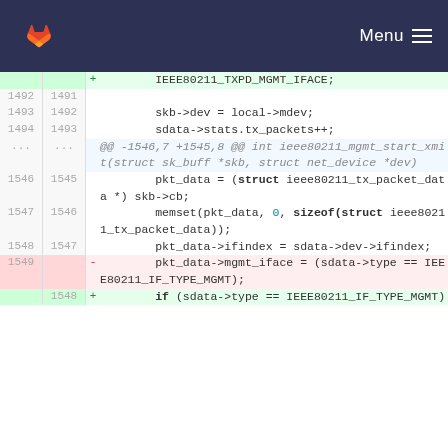GitLab — Menu
[Figure (screenshot): Code diff view showing changes to ieee80211 management transmission code. Lines 1492-1549 shown with context, removed line (1549) deleting pkt_data->mgmt_iface assignment, added line (1548) replacing with if statement.]